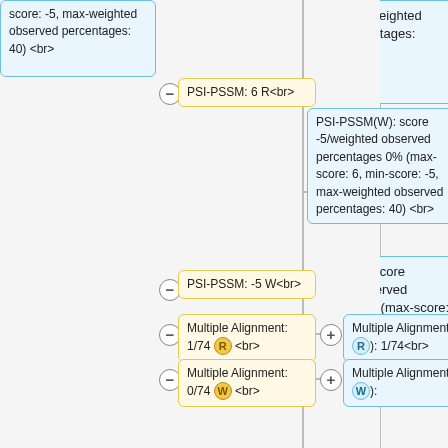[Figure (flowchart): A flowchart showing PSI-PSSM and Multiple Alignment nodes with yellow input boxes and blue output boxes connected by lines with minus and plus operators. Elements include: blue box top-right with 'score: -5, max-weighted observed percentages: 40) <br>'; yellow box 'PSI-PSSM: 6 R<br>'; blue box 'PSI-PSSM(W): score -5/weighted observed percentages 0% (max-score: 6, min-score: -5, max-weighted observed percentages: 40) <br>'; yellow box 'PSI-PSSM: -5 W<br>'; yellow box 'Multiple Alignment: 1/74 R <br>' with blue badge R; blue box 'Multiple Alignment(R): 1/74<br>'; yellow box 'Multiple Alignment: 0/74 W <br>' with blue badge W; blue box 'Multiple Alignment(W):'.]